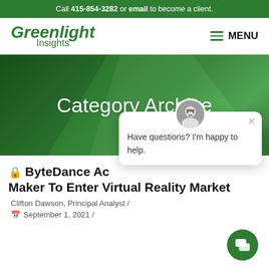Call 415-854-3282 or email to become a client.
[Figure (logo): Greenlight Insights logo with green italic text and MENU navigation button]
[Figure (illustration): Green gradient hero banner with Category Archive text]
Category Archive
[Figure (screenshot): Chat popup with avatar and message: Have questions? I'm happy to help.]
ByteDance Acquires VR Headset Maker To Enter Virtual Reality Market
Clifton Dawson, Principal Analyst /
September 1, 2021 /